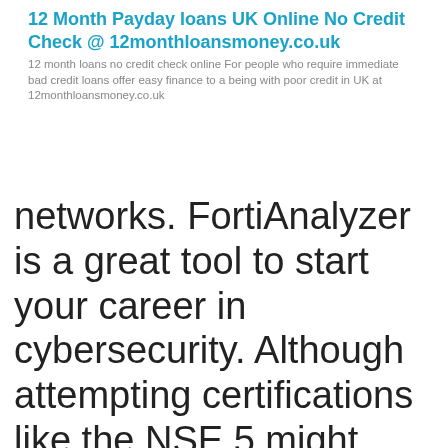12 Month Payday loans UK Online No Credit Check @ 12monthloansmoney.co.uk
12 month loans no credit check online For people who require immediate bad credit loans offer easy finance to a being with poor credit in UK at 12monthloansmoney.co.uk
networks. FortiAnalyzer is a great tool to start your career in cybersecurity. Although attempting certifications like the NSE 5 might seem daunting, learning how to read the data generated by FortiAnalyzer networks is a great way to get started. FortiAnalyzer NSE 5 – FortiAnalyzer training The 7-part series covers topics like implementing network security management using Fortinet security equipment, registering remote network security devices, and